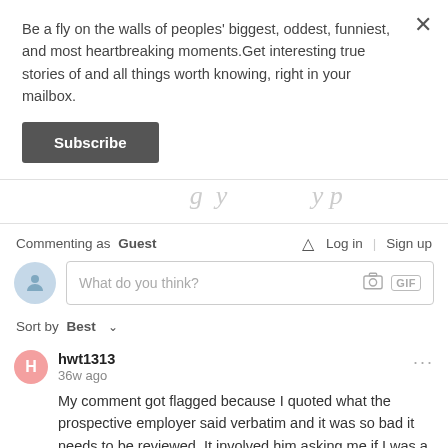Be a fly on the walls of peoples' biggest, oddest, funniest, and most heartbreaking moments.Get interesting true stories of and all things worth knowing, right in your mailbox.
Subscribe
Commenting as Guest
Log in | Sign up
What do you think?
Sort by Best
hwt1313
36w ago
My comment got flagged because I quoted what the prospective employer said verbatim and it was so bad it needs to be reviewed. It involved him asking me if I was a word that is British slang for a cigerette